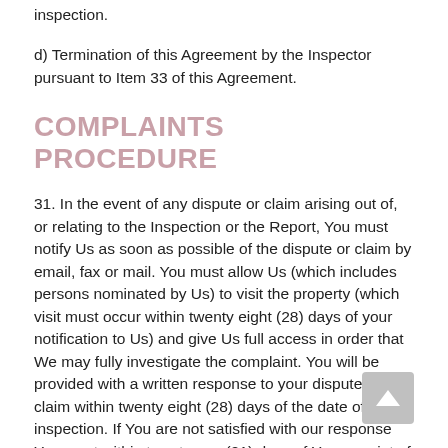inspection.
d) Termination of this Agreement by the Inspector pursuant to Item 33 of this Agreement.
COMPLAINTS PROCEDURE
31. In the event of any dispute or claim arising out of, or relating to the Inspection or the Report, You must notify Us as soon as possible of the dispute or claim by email, fax or mail. You must allow Us (which includes persons nominated by Us) to visit the property (which visit must occur within twenty eight (28) days of your notification to Us) and give Us full access in order that We may fully investigate the complaint. You will be provided with a written response to your dispute or claim within twenty eight (28) days of the date of the inspection. If You are not satisfied with our response You must within twenty one (21) days of Your receipt of Our written response refer the matter to a